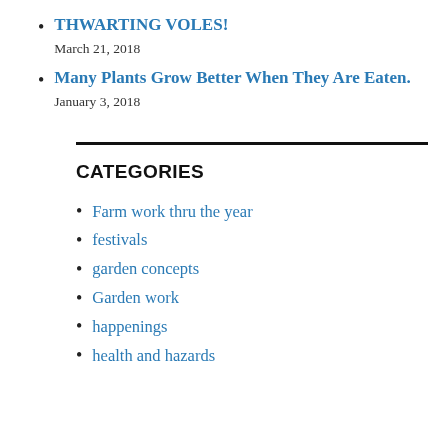THWARTING VOLES!
March 21, 2018
Many Plants Grow Better When They Are Eaten.
January 3, 2018
CATEGORIES
Farm work thru the year
festivals
garden concepts
Garden work
happenings
health and hazards